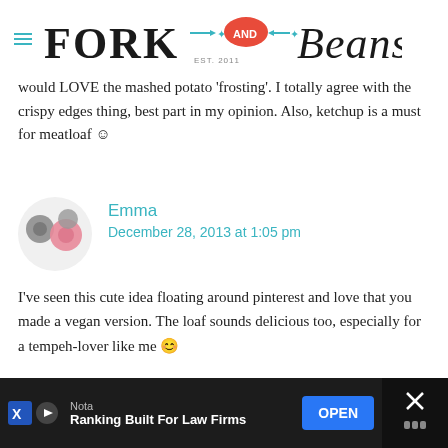Fork and Beans - EST. 2011
would LOVE the mashed potato 'frosting'. I totally agree with the crispy edges thing, best part in my opinion. Also, ketchup is a must for meatloaf ☺
Emma
December 28, 2013 at 1:05 pm
I've seen this cute idea floating around pinterest and love that you made a vegan version. The loaf sounds delicious too, especially for a tempeh-lover like me 😊
Nota - Ranking Built For Law Firms - OPEN